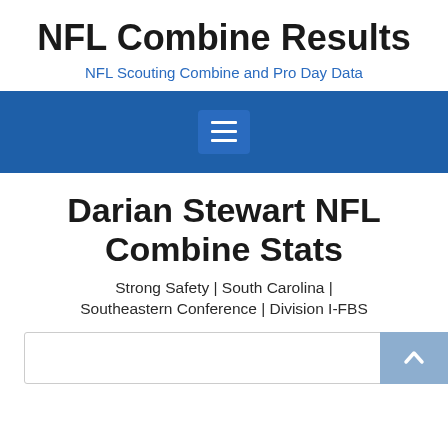NFL Combine Results
NFL Scouting Combine and Pro Day Data
[Figure (other): Blue navigation bar with hamburger menu icon (three horizontal white lines on a darker blue button)]
Darian Stewart NFL Combine Stats
Strong Safety | South Carolina | Southeastern Conference | Division I-FBS